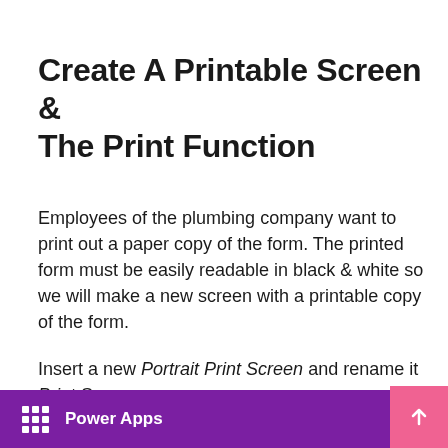Create A Printable Screen & The Print Function
Employees of the plumbing company want to print out a paper copy of the form. The printed form must be easily readable in black & white so we will make a new screen with a printable copy of the form.
Insert a new Portrait Print Screen and rename it Print Screen.
Power Apps